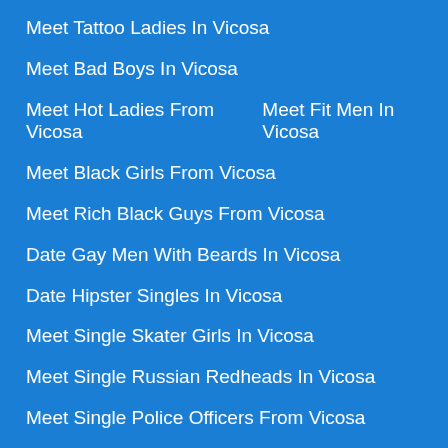Meet Tattoo Ladies In Vicosa
Meet Bad Boys In Vicosa
Meet Hot Ladies From Vicosa    Meet Fit Men In Vicosa
Meet Black Girls From Vicosa
Meet Rich Black Guys From Vicosa
Date Gay Men With Beards In Vicosa
Date Hipster Singles In Vicosa
Meet Single Skater Girls In Vicosa
Meet Single Russian Redheads In Vicosa
Meet Single Police Officers From Vicosa